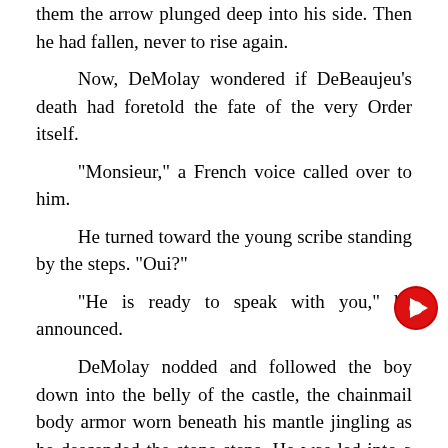them the arrow plunged deep into his side. Then he had fallen, never to rise again.

Now, DeMolay wondered if DeBeaujeu's death had foretold the fate of the very Order itself.

"Monsieur," a French voice called over to him.

He turned toward the young scribe standing by the steps. "Oui?"

"He is ready to speak with you," he announced.

DeMolay nodded and followed the boy down into the belly of the castle, the chainmail body armor worn beneath his mantle jingling as he descended the stone steps. He was led into a vaulted stone chamber where the new Grand Master, a haggard Tibald DeGaudin, lay in a bed positioned at its center. The fetid air reeked of physical neglect.

DeMolay tried to not focus on DeGaudin's bony hands, covered with open sores. His face was equally appalling—ghastly white with yellow eyes bulging from sunken sockets. "How are you feeling?" The attempt at